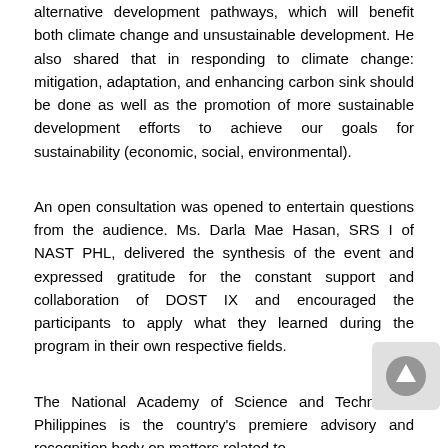alternative development pathways, which will benefit both climate change and unsustainable development. He also shared that in responding to climate change: mitigation, adaptation, and enhancing carbon sink should be done as well as the promotion of more sustainable development efforts to achieve our goals for sustainability (economic, social, environmental).
An open consultation was opened to entertain questions from the audience. Ms. Darla Mae Hasan, SRS I of NAST PHL, delivered the synthesis of the event and expressed gratitude for the constant support and collaboration of DOST IX and encouraged the participants to apply what they learned during the program in their own respective fields.
The National Academy of Science and Technology, Philippines is the country's premiere advisory and recognition body on matters related to